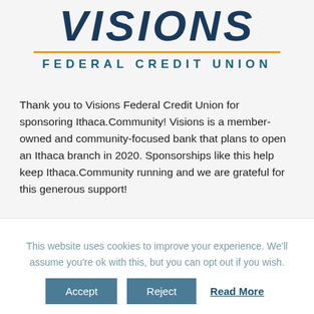[Figure (logo): Visions Federal Credit Union logo with italic bold VISIONS text in navy blue, orange horizontal rule, and FEDERAL CREDIT UNION in teal spaced capitals]
Thank you to Visions Federal Credit Union for sponsoring Ithaca.Community! Visions is a member-owned and community-focused bank that plans to open an Ithaca branch in 2020. Sponsorships like this help keep Ithaca.Community running and we are grateful for this generous support!
This website uses cookies to improve your experience. We'll assume you're ok with this, but you can opt out if you wish.
Accept  Reject  Read More